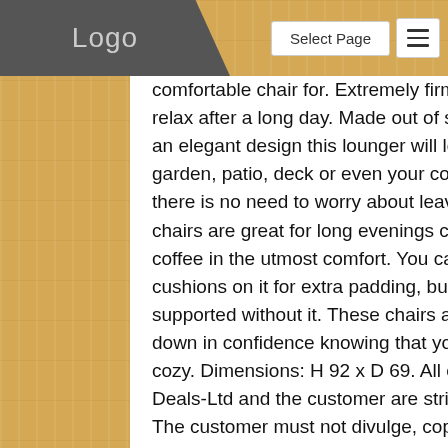Logo | Select Page
comfortable chair for. Extremely firm and stylish and will help you relax after a long day. Made out of slats of wood and complete with an elegant design this lounger will look right at home. In your garden, patio, deck or even your conservatory. It is waterproof so there is no need to worry about leaving it out in the rain. These arm chairs are great for long evenings chatting with a friend or having a coffee in the utmost comfort. You can even pop some garden chair cushions on it for extra padding, but it's not needed as you will feel supported without it. These chairs are strong and durable so sit down in confidence knowing that you will be made to feel safe and cozy. Dimensions: H 92 x D 69. All communication between Daily-Deals-Ltd and the customer are strictly private and confidential. The customer must not divulge, copy, forward or use the contents, attachments or information contained therein. Any unauthorised use or disclosure may be unlawful. Orders received Monday to Friday before 12pm will usually be despatched same day. The